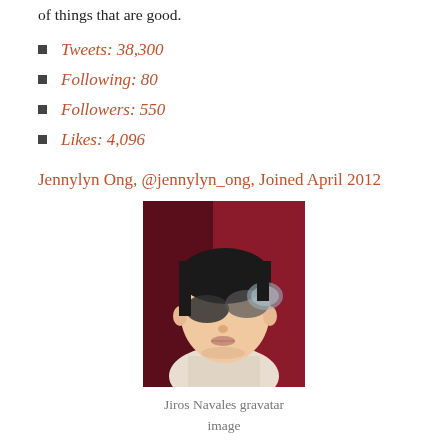of things that are good.
Tweets: 38,300
Following: 80
Followers: 550
Likes: 4,096
Jennylyn Ong, @jennylyn_ong, Joined April 2012
[Figure (photo): Jiros Navales gravatar image — illustrated portrait of a person with black hair and sunglasses against a red background]
Jiros Navales gravatar image
Jiros Navales